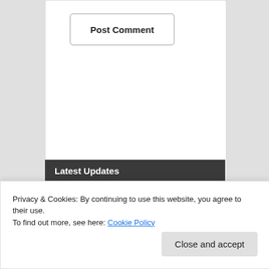Post Comment
Latest Updates
Death on roads
Introducing March session remains a big
Mumkin and Tejaswini: CEO Mission Youth
Privacy & Cookies: By continuing to use this website, you agree to their use.
To find out more, see here: Cookie Policy
Close and accept